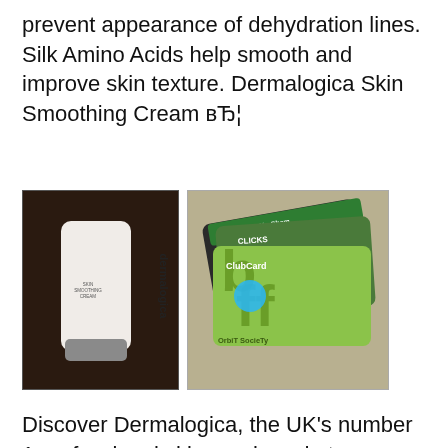prevent appearance of dehydration lines. Silk Amino Acids help smooth and improve skin texture. Dermalogica Skin Smoothing Cream вЂ¦
[Figure (photo): Dermalogica skin smoothing cream tube (white tube with silver cap, brand name printed vertically) on dark brown background]
[Figure (photo): Loyalty cards fanned out: Dis-Chem Loyalty card (dark), Clicks Card (green with bff logo), Orbit Society ClubCard (gold/brown)]
Discover Dermalogica, the UK's number 1 professional skincare brand at Feelunique for skincare free of irritants & fragrance. Discover Dermalogica, the UK's number 1 professional skincare